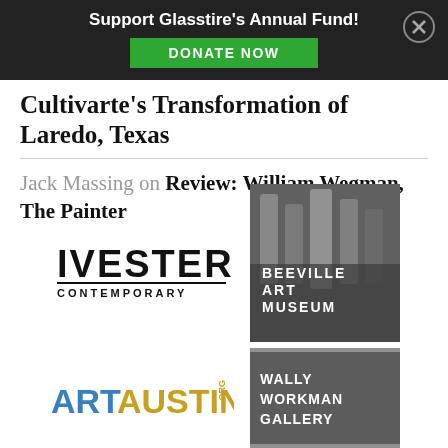Support Glasstire's Annual Fund! DONATE NOW
Cultivarte's Transformation of Laredo, Texas
Jack Massing on Review: William Wegman, The Painter
[Figure (logo): Ivester Contemporary logo — bold black text]
[Figure (logo): Beeville Art Museum logo — white text on dark gray background with architectural photo]
[Figure (logo): ArtAustin.org logo — ART in blue, AUSTIN in gold/yellow, .ORG in gold rotated]
[Figure (logo): Wally Workman Gallery logo — white text on gray background with top and bottom borders]